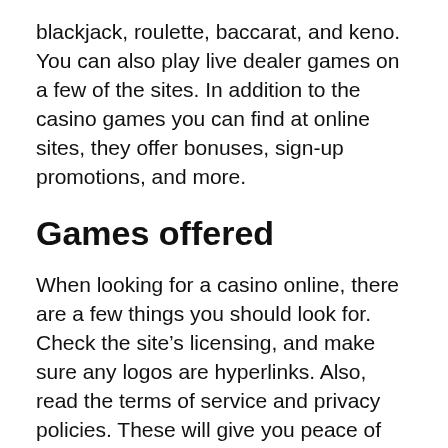blackjack, roulette, baccarat, and keno. You can also play live dealer games on a few of the sites. In addition to the casino games you can find at online sites, they offer bonuses, sign-up promotions, and more.
Games offered
When looking for a casino online, there are a few things you should look for. Check the site’s licensing, and make sure any logos are hyperlinks. Also, read the terms of service and privacy policies. These will give you peace of mind. If you find any that aren’t, move on. There are hundreds, even thousands, of online casino games to choose from! The key is to choose a casino that suits your preferences and